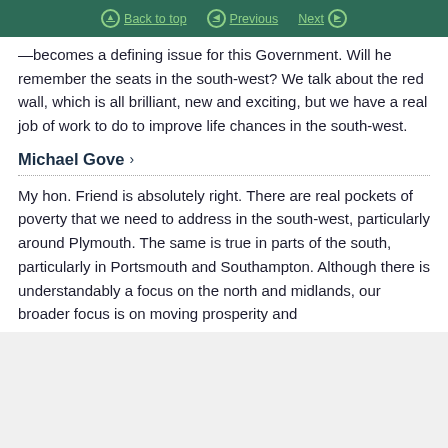Back to top  Previous  Next
—becomes a defining issue for this Government. Will he remember the seats in the south-west? We talk about the red wall, which is all brilliant, new and exciting, but we have a real job of work to do to improve life chances in the south-west.
Michael Gove
My hon. Friend is absolutely right. There are real pockets of poverty that we need to address in the south-west, particularly around Plymouth. The same is true in parts of the south, particularly in Portsmouth and Southampton. Although there is understandably a focus on the north and midlands, our broader focus is on moving prosperity and